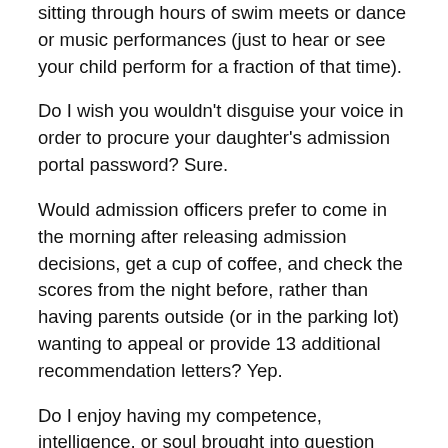sitting through hours of swim meets or dance or music performances (just to hear or see your child perform for a fraction of that time).
Do I wish you wouldn't disguise your voice in order to procure your daughter's admission portal password? Sure.
Would admission officers prefer to come in the morning after releasing admission decisions, get a cup of coffee, and check the scores from the night before, rather than having parents outside (or in the parking lot) wanting to appeal or provide 13 additional recommendation letters? Yep.
Do I enjoy having my competence, intelligence, or soul brought into question based on an admission decision? Not particularly.
Nevertheless, as the parent of two kids, I get it. The